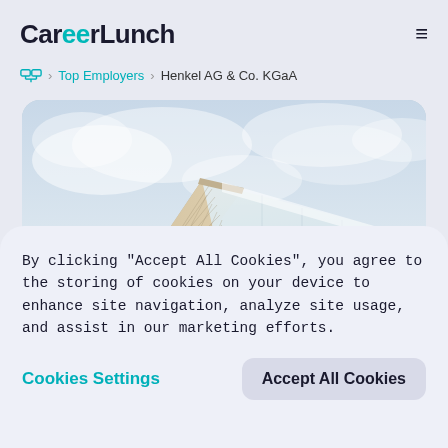CareerLunch
≈ > Top Employers > Henkel AG & Co. KGaA
[Figure (photo): Low-angle photo of a modern glass and steel office building corner against a cloudy sky]
By clicking "Accept All Cookies", you agree to the storing of cookies on your device to enhance site navigation, analyze site usage, and assist in our marketing efforts.
Cookies Settings    Accept All Cookies